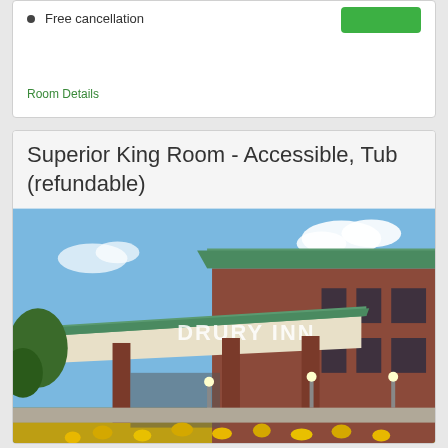Free cancellation
Room Details
Superior King Room - Accessible, Tub (refundable)
[Figure (photo): Exterior photo of a Drury Inn hotel building with green metal roof, brick facade, covered entrance canopy, and yellow flowers in foreground under a blue sky]